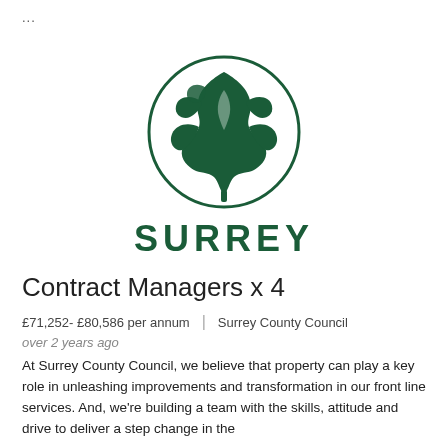...
[Figure (logo): Surrey County Council logo: dark green circle containing oak leaf silhouette, with text SURREY below in bold dark green capitals]
Contract Managers x 4
£71,252- £80,586 per annum | Surrey County Council
over 2 years ago
At Surrey County Council, we believe that property can play a key role in unleashing improvements and transformation in our front line services. And, we're building a team with the skills, attitude and drive to deliver a step change in the performance of Surrey's property. The...